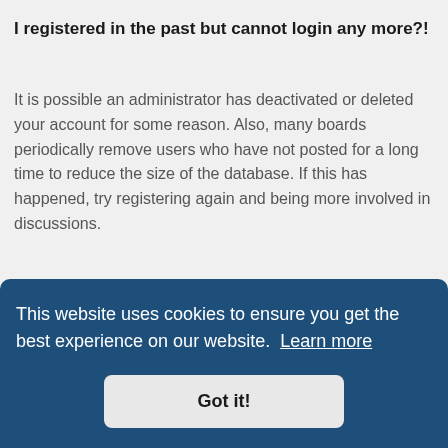I registered in the past but cannot login any more?!
It is possible an administrator has deactivated or deleted your account for some reason. Also, many boards periodically remove users who have not posted for a long time to reduce the size of the database. If this has happened, try registering again and being more involved in discussions.
I've lost my password!
Don't panic! While your password cannot be retrieved, it can easily be reset. Visit the login page and click I forgot my password. Follow the instructions and you should be able to log in again shortly. …tain
This website uses cookies to ensure you get the best experience on our website. Learn more
Got it!